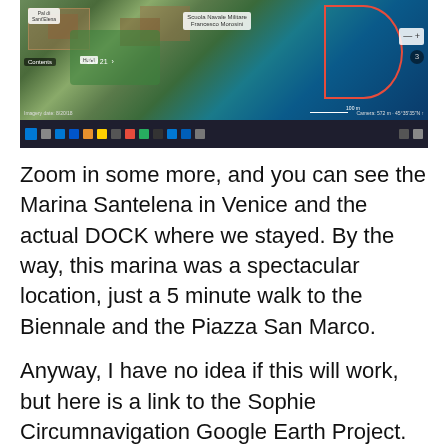[Figure (screenshot): Google Earth satellite view of Marina Santelena in Venice, showing buildings, green areas, and water with a red outline marking the dock area. Windows taskbar visible at bottom.]
Zoom in some more, and you can see the Marina Santelena in Venice and the actual DOCK where we stayed. By the way, this marina was a spectacular location, just a 5 minute walk to the Biennale and the Piazza San Marco.
Anyway, I have no idea if this will work, but here is a link to the Sophie Circumnavigation Google Earth Project. Click here to access the web page. Once you are there, click the Present button and off you go! Please leave me a note in the blog comments if you have any questions or feedback.